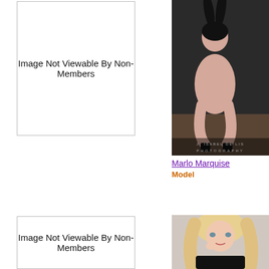[Figure (other): Placeholder box: Image Not Viewable By Non-Members (top, left column)]
[Figure (photo): Photo of Marlo Marquise, a model dressed as a bunny, crouching, dark hair, studio photo by J. Isabel De Lis Photography]
Marlo Marquise
Model
[Figure (other): Placeholder box: Image Not Viewable By Non-Members (bottom, left column)]
[Figure (photo): Photo of a blonde woman in dark clothing, partially visible at bottom right]